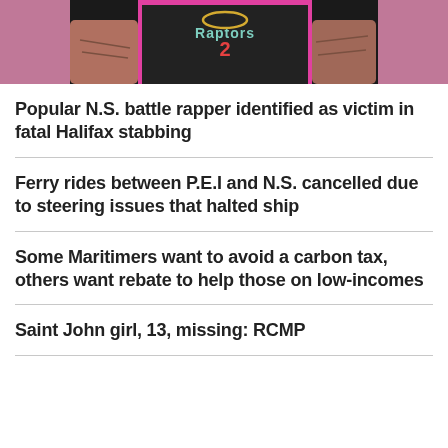[Figure (photo): Person wearing a dark Raptors basketball jersey with tattoos and gold chain, pink/blurred background]
Popular N.S. battle rapper identified as victim in fatal Halifax stabbing
Ferry rides between P.E.I and N.S. cancelled due to steering issues that halted ship
Some Maritimers want to avoid a carbon tax, others want rebate to help those on low-incomes
Saint John girl, 13, missing: RCMP